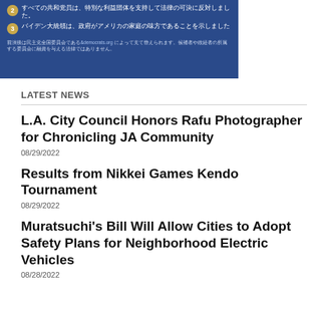[Figure (screenshot): Blue background image with Japanese text showing numbered points (2 and 3) in gold circles, and a disclaimer line at the bottom mentioning democrats.org]
LATEST NEWS
L.A. City Council Honors Rafu Photographer for Chronicling JA Community
08/29/2022
Results from Nikkei Games Kendo Tournament
08/29/2022
Muratsuchi's Bill Will Allow Cities to Adopt Safety Plans for Neighborhood Electric Vehicles
08/28/2022